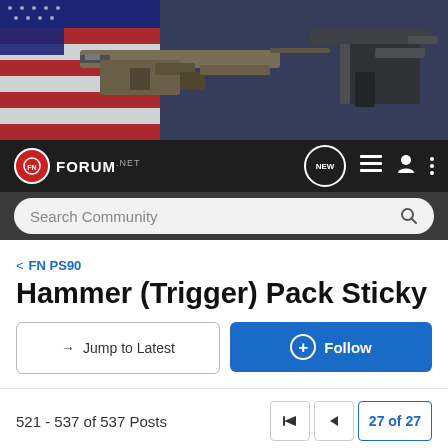[Figure (photo): Banner image showing military-style rifles and a handgun against an American flag backdrop]
FN FORUM.net — Navigation bar with NEW, list, user, and menu icons, plus Search Community bar
< FN PS90
Hammer (Trigger) Pack Sticky
→ Jump to Latest | + Follow
521 - 537 of 537 Posts
27 of 27
AGG · Registered 🇺🇸